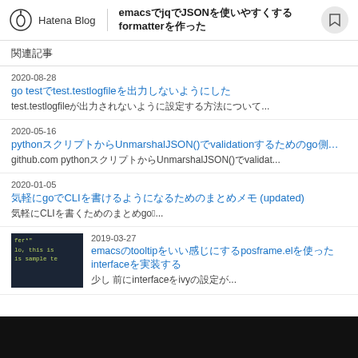Hatena Blog — emacsでjqでJSONを使いやすくするformatterを作った
関連記事
2020-08-28
go testでtest.testlogfileを出力しないようにした
test.testlogfileが出力されないように設定する方法について...
2020-05-16
pythonスクリプトからUnmarshalJSON()でvalidationするためのgo側のstr...
github.com pythonスクリプトからUnmarshalJSON()でvalidat...
2020-01-05
気軽にgoCLIを書けるようになるためのまとめメモ (updated)
気軽にCLIを書くためのまとめgoのC...
2019-03-27
emacsのtooltipをいい感じにするposframe.elを使ったinterfaceを実装する
少し前にinterfaceのivyの設定が...
[Figure (screenshot): Terminal screenshot showing code with yellow-green text on dark background, text reads 'fer*', 'lo, this is', 'is sample te']